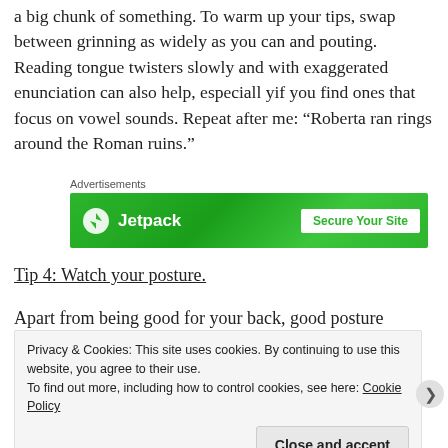a big chunk of something. To warm up your tips, swap between grinning as widely as you can and pouting. Reading tongue twisters slowly and with exaggerated enunciation can also help, especiall yif you find ones that focus on vowel sounds. Repeat after me: “Roberta ran rings around the Roman ruins.”
[Figure (other): Jetpack advertisement banner with green background, Jetpack logo on left and 'Secure Your Site' call-to-action on right]
Tip 4: Watch your posture.
Apart from being good for your back, good posture
Privacy & Cookies: This site uses cookies. By continuing to use this website, you agree to their use.
To find out more, including how to control cookies, see here: Cookie Policy
Close and accept